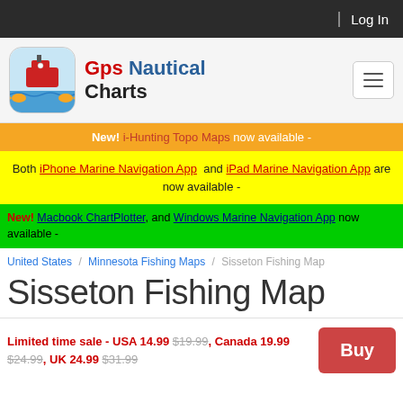Log In
[Figure (logo): GPS Nautical Charts app logo - ship with fish, rounded square icon]
Gps Nautical Charts
New! i-Hunting Topo Maps now available -
Both iPhone Marine Navigation App and iPad Marine Navigation App are now available -
New! Macbook ChartPlotter, and Windows Marine Navigation App now available -
United States / Minnesota Fishing Maps / Sisseton Fishing Map
Sisseton Fishing Map
Limited time sale - USA 14.99 $19.99, Canada 19.99 $24.99, UK 24.99 $31.99